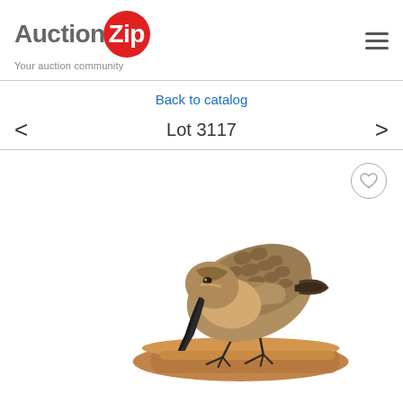AuctionZip — Your auction community
Back to catalog
Lot 3117
[Figure (photo): A carved shorebird (sandpiper-type decoy) with brown and tan plumage, beak pointed downward, perched on a piece of driftwood. The carving is highly detailed with scaled feather texture. The bird has thin black legs and feet.]